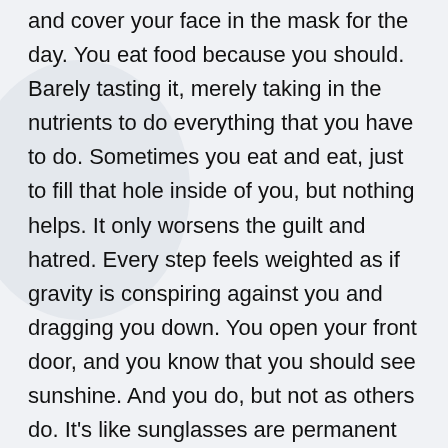and cover your face in the mask for the day. You eat food because you should. Barely tasting it, merely taking in the nutrients to do everything that you have to do. Sometimes you eat and eat, just to fill that hole inside of you, but nothing helps. It only worsens the guilt and hatred. Every step feels weighted as if gravity is conspiring against you and dragging you down. You open your front door, and you know that you should see sunshine. And you do, but not as others do. It's like sunglasses are permanent shielding your eyes, making everything darker than it should be, tinting the world grey.
You see people, and you force a smile or